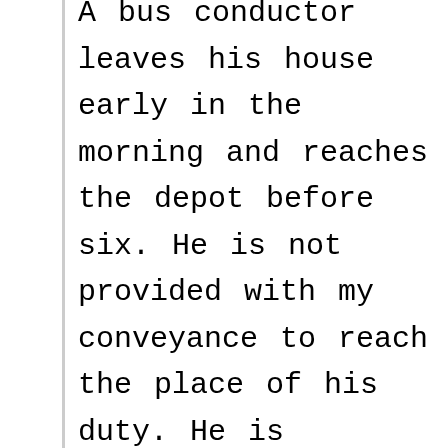A bus conductor leaves his house early in the morning and reaches the depot before six. He is not provided with my conveyance to reach the place of his duty. He is fortunate if he finds a bus passing his away. He can have a free ride in the bus to reach the depot.